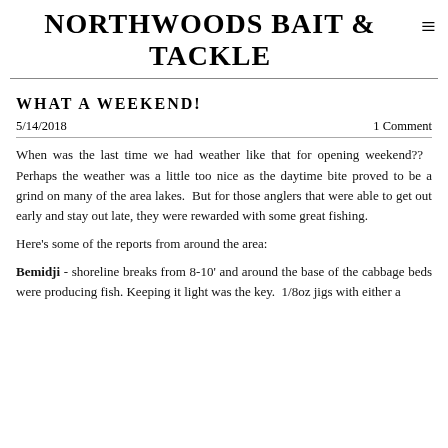NORTHWOODS BAIT & TACKLE
WHAT A WEEKEND!
5/14/2018    1 Comment
When was the last time we had weather like that for opening weekend??   Perhaps the weather was a little too nice as the daytime bite proved to be a grind on many of the area lakes.  But for those anglers that were able to get out early and stay out late, they were rewarded with some great fishing.
Here's some of the reports from around the area:
Bemidji - shoreline breaks from 8-10' and around the base of the cabbage beds were producing fish. Keeping it light was the key.  1/8oz jigs with either a